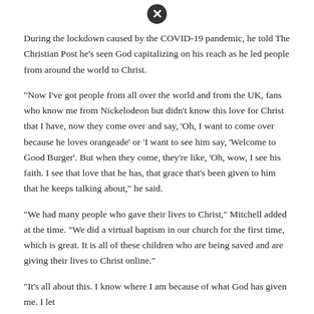[Figure (other): Close/X button icon circle at top of page]
During the lockdown caused by the COVID-19 pandemic, he told The Christian Post he's seen God capitalizing on his reach as he led people from around the world to Christ.
"Now I've got people from all over the world and from the UK, fans who know me from Nickelodeon but didn't know this love for Christ that I have, now they come over and say, 'Oh, I want to come over because he loves orangeade' or 'I want to see him say, 'Welcome to Good Burger'. But when they come, they're like, 'Oh, wow, I see his faith. I see that love that he has, that grace that's been given to him that he keeps talking about," he said.
"We had many people who gave their lives to Christ," Mitchell added at the time. "We did a virtual baptism in our church for the first time, which is great. It is all of these children who are being saved and are giving their lives to Christ online."
"It's all about this. I know where I am because of what God has given me. I let
[Figure (other): Close/X button icon circle at bottom of page]